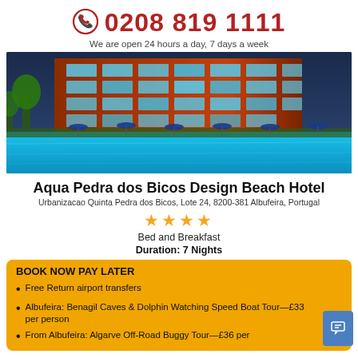0208 819 1111 — We are open 24 hours a day, 7 days a week
[Figure (photo): Night photo of Aqua Pedra dos Bicos Design Beach Hotel showing illuminated orange building facade with balconies and a blue swimming pool in the foreground with sun loungers and umbrellas]
Aqua Pedra dos Bicos Design Beach Hotel
Urbanizacao Quinta Pedra dos Bicos, Lote 24, 8200-381 Albufeira, Portugal
★★★★
Bed and Breakfast
Duration: 7 Nights
BOOK NOW PAY LATER
Free Return airport transfers
Albufeira: Benagil Caves & Dolphin Watching Speed Boat Tour—£33 per person
From Albufeira: Algarve Off-Road Buggy Tour—£36 per